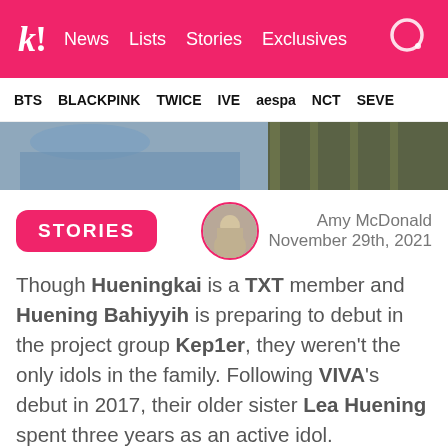k! News Lists Stories Exclusives
BTS BLACKPINK TWICE IVE aespa NCT SEVE
[Figure (photo): Partial hero image showing clothing/fashion items on left and idol group outfits on right]
STORIES
Amy McDonald November 29th, 2021
Though Hueningkai is a TXT member and Huening Bahiyyih is preparing to debut in the project group Kep1er, they weren't the only idols in the family. Following VIVA's debut in 2017, their older sister Lea Huening spent three years as an active idol.
[Figure (photo): Partial bottom image of a performer holding a microphone on a dark stage]